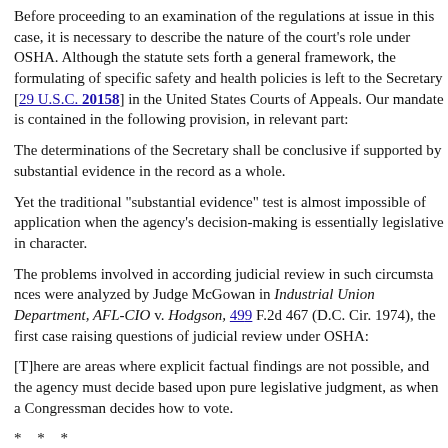Before proceeding to an examination of the regulations at issue in this case, it is necessary to describe the nature of the court's role under OSHA. Although the statute sets forth a general framework, the formulating of specific safety and health policies is left to the Secretary [29 U.S.C. 20158] in the United States Courts of Appeals. Our mandate is contained in the following provision, in relevant part:
The determinations of the Secretary shall be conclusive if supported by substantial evidence in the record as a whole.
Yet the traditional "substantial evidence" test is almost impossible of application when the agency's decision-making is essentially legislative in character.
The problems involved in according judicial review in such circumstances were analyzed by Judge McGowan in Industrial Union Department, AFL-CIO v. Hodgson, 499 F.2d 467 (D.C. Cir. 1974), the first case raising questions of judicial review under OSHA:
[T]here are areas where explicit factual findings are not possible, and the agency must decide based upon pure legislative judgment, as when a Congressman decides how to vote.
* * *
[P]olicy choices of this sort are not susceptible to the same type of verification or refutation as are some factual questions. Consequently, the court's approach must necessarily vary as standards of review are labeled. [499 F.2d at 474-75.]
In these circumstances, Judge McGowan concluded, the reviewing court